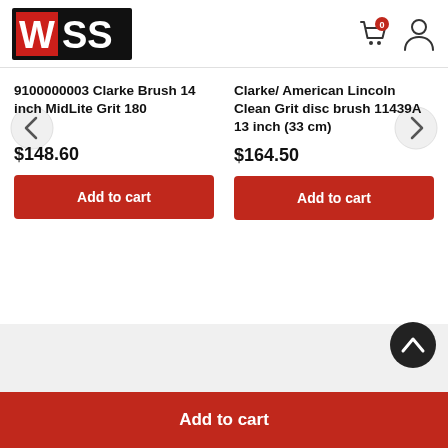[Figure (logo): WSS logo - white W on red background beside bold black SS text, in a black rectangle]
9100000003 Clarke Brush 14 inch MidLite Grit 180
$148.60
Add to cart
Clarke/ American Lincoln Clean Grit disc brush 11439A 13 inch (33 cm)
$164.50
Add to cart
Add to cart